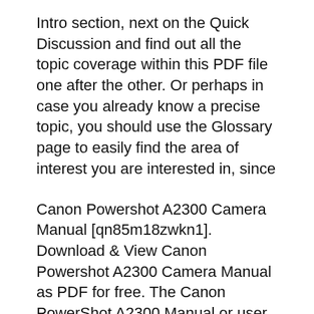Intro section, next on the Quick Discussion and find out all the topic coverage within this PDF file one after the other. Or perhaps in case you already know a precise topic, you should use the Glossary page to easily find the area of interest you are interested in, since
Canon Powershot A2300 Camera Manual [qn85m18zwkn1]. Download & View Canon Powershot A2300 Camera Manual as PDF for free. The Canon PowerShot A2300 Manual or user guide is available now. The manual also for PowerShot A1300 and A810. It's available in english language. The main issue of this manual such as about